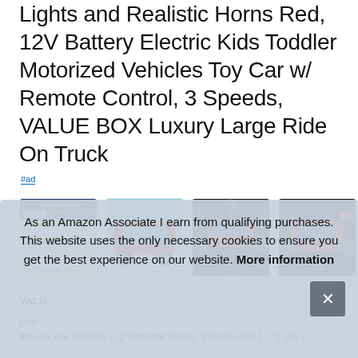Lights and Realistic Horns Red, 12V Battery Electric Kids Toddler Motorized Vehicles Toy Car w/ Remote Control, 3 Speeds, VALUE BOX Luxury Large Ride On Truck
#ad
[Figure (photo): Four thumbnail images of a ride-on toy truck product: 1) Quick Brand Review infographic chart, 2) child riding red electric car outdoors, 3) red truck parts/features diagram on black background, 4) red truck parts diagram variant on black background]
VALU... pow... the car are packed in 2 different boxes. Please wait 1 – 2 days
As an Amazon Associate I earn from qualifying purchases. This website uses the only necessary cookies to ensure you get the best experience on our website. More information